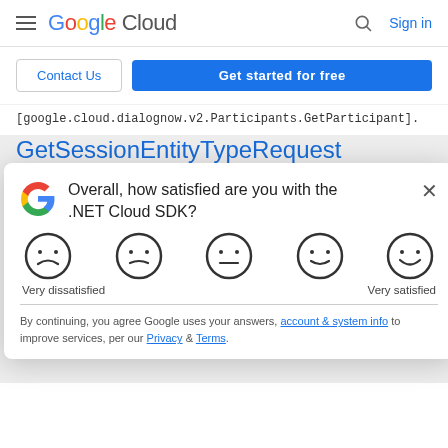Google Cloud  Sign in
Contact Us  Get started for free
[google.cloud.dialognow.v2.Participants.GetParticipant].
GetSessionEntityTypeRequest
The request message for
[Ses...
[goo...
[Figure (screenshot): Google satisfaction survey modal asking 'Overall, how satisfied are you with the .NET Cloud SDK?' with 5 emoji faces from Very dissatisfied to Very satisfied, plus fine print about account & system info, Privacy and Terms.]
Ge...
The...
[goo...].
GetVersionRequest